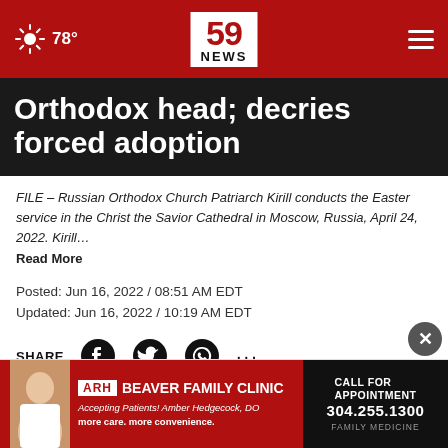78° | 59 NEWS
Orthodox head; decries forced adoption
FILE – Russian Orthodox Church Patriarch Kirill conducts the Easter service in the Christ the Savior Cathedral in Moscow, Russia, April 24, 2022. Kirill… Read More
Posted: Jun 16, 2022 / 08:51 AM EDT
Updated: Jun 16, 2022 / 10:19 AM EDT
SHARE
LOND… of sancti… head